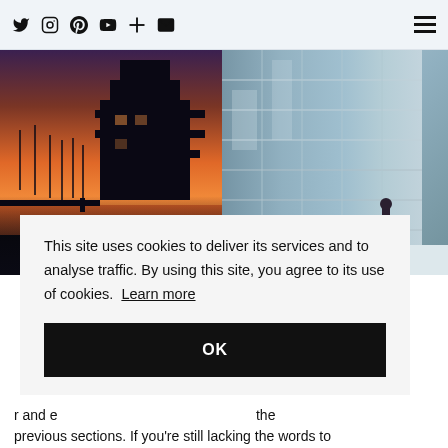Social media icons: Twitter, Instagram, Pinterest, YouTube, Plus, Email | Hamburger menu
[Figure (photo): Left photo: modern building silhouette at sunset over water with masts reflected in orange sky. Right photo: person walking beside large glass building facade on white marble.]
This site uses cookies to deliver its services and to analyse traffic. By using this site, you agree to its use of cookies. Learn more
OK
r and e the previous sections. If you're still lacking the words to